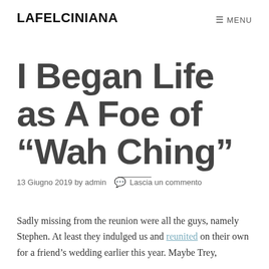LAFELCINIANA
≡ MENU
I Began Life as A Foe of “Wah Ching”
13 Giugno 2019 by admin 💬 Lascia un commento
Sadly missing from the reunion were all the guys, namely Stephen. At least they indulged us and reunited on their own for a friend’s wedding earlier this year. Maybe Trey,